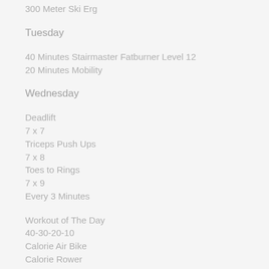300 Meter Ski Erg
Tuesday
40 Minutes Stairmaster Fatburner Level 12
20 Minutes Mobility
Wednesday
Deadlift
7 x 7
Triceps Push Ups
7 x 8
Toes to Rings
7 x 9
Every 3 Minutes
Workout of The Day
40-30-20-10
Calorie Air Bike
Calorie Rower